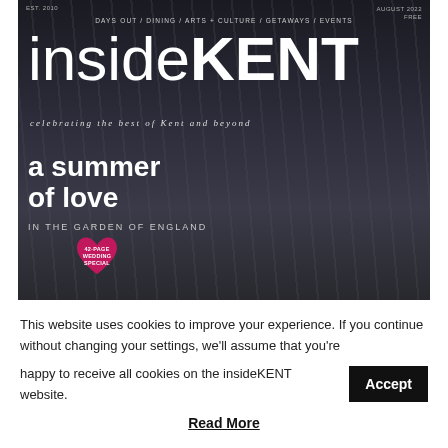[Figure (photo): insideKENT magazine cover. Dark/moody background showing architectural interior with diagonal beams. Top bar shows EST. 2010 on left, AUGUST 2022 FREE on right. Navigation: DAYS OUT / DINING / ARTS + CULTURE / GETAWAYS / EVENTS. Large masthead 'insideKENT'. Tagline: celebrating the best of Kent and beyond. Feature text: 'a summer of love IN THE GARDEN OF ENGLAND'. Pink heart badge with '42-PAGE WEDDING SPECIAL'.]
This website uses cookies to improve your experience. If you continue without changing your settings, we'll assume that you're happy to receive all cookies on the insideKENT website.
Accept
Read More